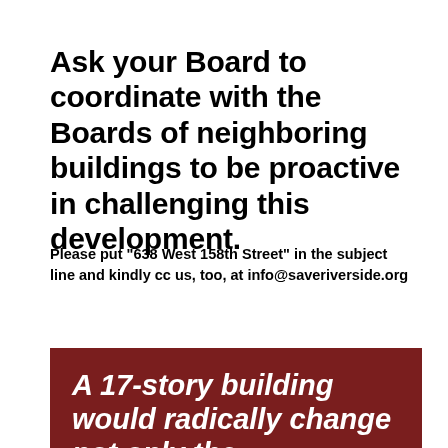Ask your Board to coordinate with the Boards of neighboring buildings to be proactive in challenging this development.
Please put "638 West 158th Street" in the subject line and kindly cc us, too, at info@saveriverside.org
[Figure (infographic): Dark red/maroon banner with white bold italic text reading: A 17-story building would radically change not only the streetscape and feel of our neighborhood]